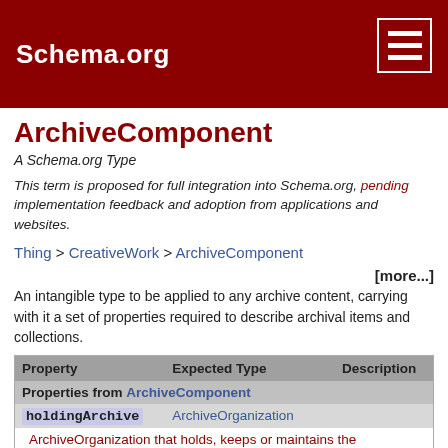Schema.org
ArchiveComponent
A Schema.org Type
This term is proposed for full integration into Schema.org, pending implementation feedback and adoption from applications and websites.
Thing > CreativeWork > ArchiveComponent
[more...] An intangible type to be applied to any archive content, carrying with it a set of properties required to describe archival items and collections.
| Property | Expected Type | Description |
| --- | --- | --- |
| Properties from ArchiveComponent |  |  |
| holdingArchive | ArchiveOrganization | ArchiveOrganization that holds, keeps or maintains the ArchiveComponent. Inverse property: archiveHeld |
| itemLocation | Place or PostalAddress or Text | Current location of the item. |